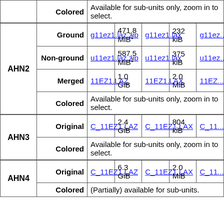| Version | Type | LAZ file | Size | LAX file | Size | ... |
| --- | --- | --- | --- | --- | --- | --- |
|  | Colored | Available for sub-units only, zoom in to select. |  |  |  |  |
| AHN2 | Ground | g11ez1.laz.zip | 471.8 MiB¹ | g11ez1.lax | 232 kiB | g11ez... |
| AHN2 | Non-ground | u11ez1.laz.zip | 587.5 MiB¹ | u11ez1.lax | 375 kiB | u11ez... |
| AHN2 | Merged | 11EZ1.LAZ | 1.0 GiB | 11EZ1.LAX | 2.0 MiB | 11EZ... |
| AHN2 | Colored | Available for sub-units only, zoom in to select. |  |  |  |  |
| AHN3 | Original | C_11EZ1.LAZ | 2.4 GiB | C_11EZ1.LAX | 804 kiB | C_11... |
| AHN3 | Colored | Available for sub-units only, zoom in to select. |  |  |  |  |
| AHN4 | Original | C_11EZ1.LAZ | 6.3 GiB | C_11EZ1.LAX | 2.0 MiB | C_11... |
| AHN4 | Colored | (Partially) available for sub-units. |  |  |  |  |